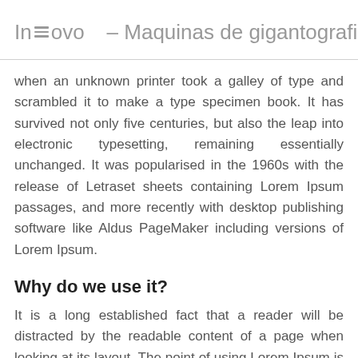Innovo – Maquinas de gigantografias
when an unknown printer took a galley of type and scrambled it to make a type specimen book. It has survived not only five centuries, but also the leap into electronic typesetting, remaining essentially unchanged. It was popularised in the 1960s with the release of Letraset sheets containing Lorem Ipsum passages, and more recently with desktop publishing software like Aldus PageMaker including versions of Lorem Ipsum.
Why do we use it?
It is a long established fact that a reader will be distracted by the readable content of a page when looking at its layout. The point of using Lorem Ipsum is that it has a more-or-less normal distribution of letters,